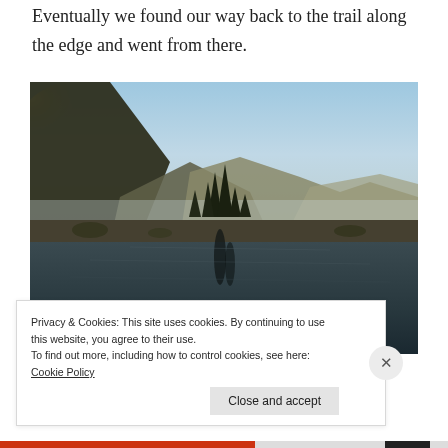Eventually we found our way back to the trail along the edge and went from there.
[Figure (photo): Mountain alpine lake with dark reflective water in the foreground, rocky shoreline with evergreen trees, mountains and misty ridgelines in the background, bright sky with sun glow on the upper left.]
Privacy & Cookies: This site uses cookies. By continuing to use this website, you agree to their use.
To find out more, including how to control cookies, see here: Cookie Policy
Close and accept